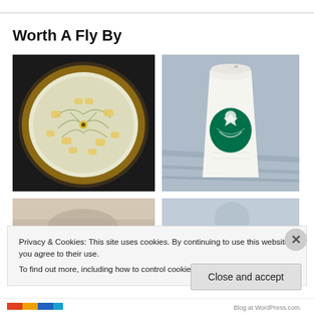Worth A Fly By
[Figure (photo): Overhead view of a cream/custard tart with fruit and herb garnish in a pie dish]
[Figure (photo): Starbucks white paper coffee cup with green Siren logo on a wooden surface]
[Figure (photo): Partial view of a food item, bottom-left image]
[Figure (photo): Partial view of a food item, bottom-right image]
Privacy & Cookies: This site uses cookies. By continuing to use this website, you agree to their use.
To find out more, including how to control cookies, see here: Cookie Policy
Close and accept